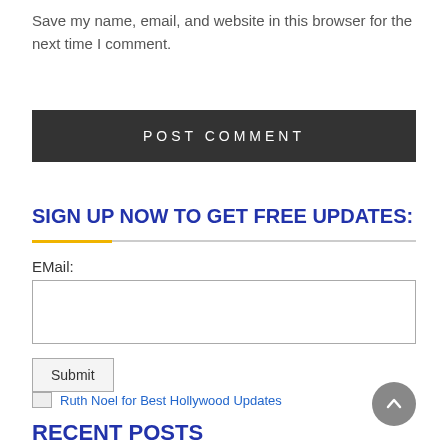Save my name, email, and website in this browser for the next time I comment.
POST COMMENT
SIGN UP NOW TO GET FREE UPDATES:
EMail:
[Figure (other): Email input text field, empty, with grey border]
Submit
[Figure (other): Broken image placeholder with alt text: Ruth Noel for Best Hollywood Updates]
RECENT POSTS